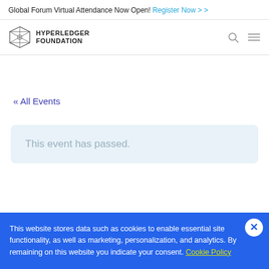Global Forum Virtual Attendance Now Open! Register Now > >
[Figure (logo): Hyperledger Foundation logo with geometric diamond/polygon shape and text]
« All Events
This event has passed.
This website stores data such as cookies to enable essential site functionality, as well as marketing, personalization, and analytics. By remaining on this website you indicate your consent. Cookie Policy